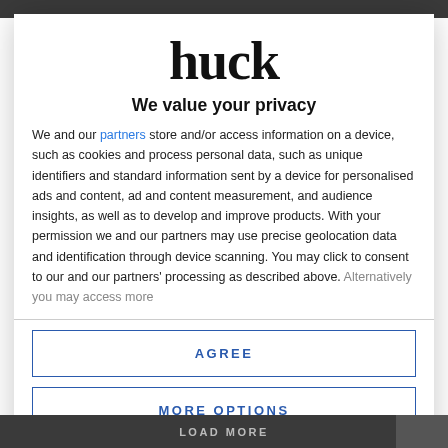[Figure (logo): Huck magazine logo — stylized lowercase 'huck' in bold serif font]
We value your privacy
We and our partners store and/or access information on a device, such as cookies and process personal data, such as unique identifiers and standard information sent by a device for personalised ads and content, ad and content measurement, and audience insights, as well as to develop and improve products. With your permission we and our partners may use precise geolocation data and identification through device scanning. You may click to consent to our and our partners' processing as described above. Alternatively you may access more
AGREE
MORE OPTIONS
LOAD MORE